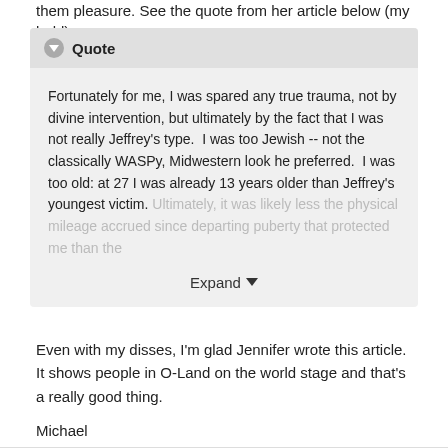them pleasure. See the quote from her article below (my bold).
Quote
Fortunately for me, I was spared any true trauma, not by divine intervention, but ultimately by the fact that I was not really Jeffrey's type.  I was too Jewish -- not the classically WASPy, Midwestern look he preferred.  I was too old: at 27 I was already 13 years older than Jeffrey's youngest victim. Ultimately, it was likely less the physical mileage accrued since departing puberty that protected me than the
Expand
Even with my disses, I'm glad Jennifer wrote this article. It shows people in O-Land on the world stage and that's a really good thing.
Michael